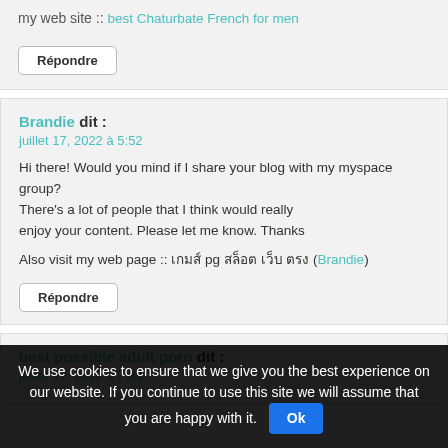my web site :: best Chaturbate French for men
Répondre
Brandie dit :
juillet 17, 2022 à 5:52
Hi there! Would you mind if I share your blog with my myspace group? There's a lot of people that I think would really enjoy your content. Please let me know. Thanks
Also visit my web page :: เกมส์ pg สล็อต เว็บ ตรง (Brandie)
Répondre
best possible adult porn dit :
juillet 17, 2022 à 7:34
We use cookies to ensure that we give you the best experience on our website. If you continue to use this site we will assume that you are happy with it.
Ok